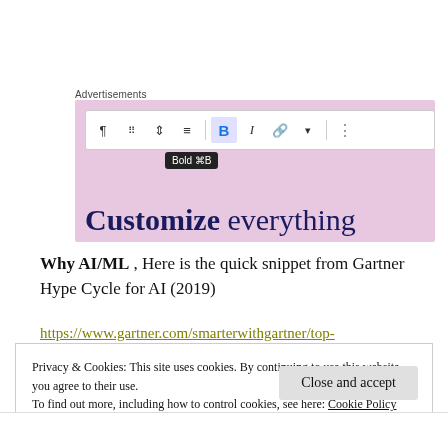Advertisements
[Figure (screenshot): WordPress editor toolbar screenshot with Bold button active and tooltip showing 'Bold ⌘B', over a pink background with text 'Customize everything']
Why AI/ML , Here is the quick snippet from Gartner Hype Cycle for AI (2019)
https://www.gartner.com/smarterwithgartner/top-
Privacy & Cookies: This site uses cookies. By continuing to use this website, you agree to their use.
To find out more, including how to control cookies, see here: Cookie Policy
Close and accept